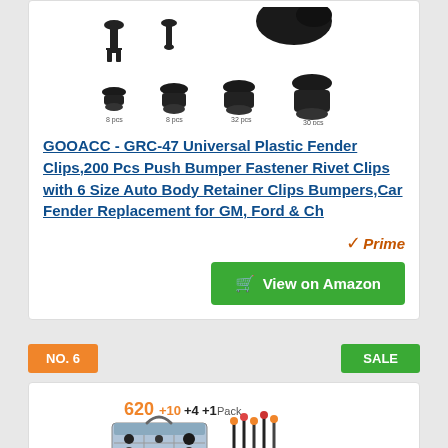[Figure (photo): Product image showing various plastic fender clips/retainer clips in multiple sizes arranged in rows]
GOOACC - GRC-47 Universal Plastic Fender Clips,200 Pcs Push Bumper Fastener Rivet Clips with 6 Size Auto Body Retainer Clips Bumpers,Car Fender Replacement for GM, Ford & Ch
[Figure (logo): Amazon Prime badge with checkmark and 'Prime' text in orange]
View on Amazon
NO. 6
SALE
[Figure (photo): Product image showing a storage box with 620+10+4+1 Pack label and various clips and tools]